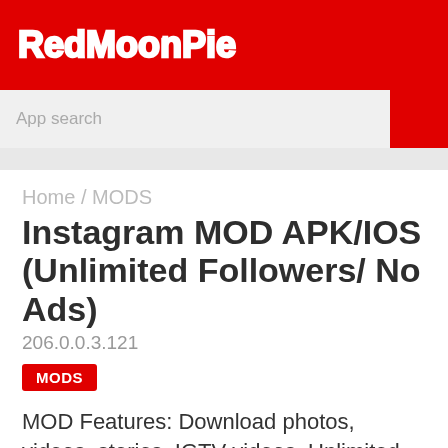RedMoonPie
App search
Home / MODS
Instagram MOD APK/IOS (Unlimited Followers/ No Ads)
206.0.0.3.121
MODS
MOD Features: Download photos, videos, stories, IGTV videos, Unlimited Followers,